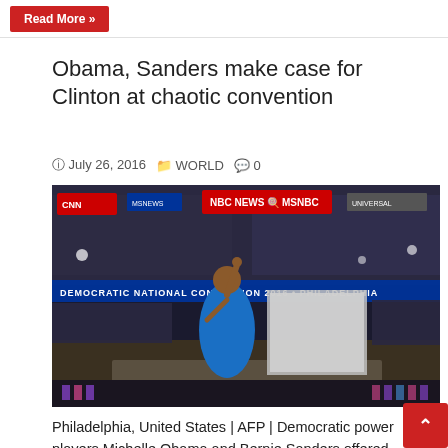Read More »
Obama, Sanders make case for Clinton at chaotic convention
July 26, 2016   WORLD   0
[Figure (photo): A woman in a blue dress stands at a podium on stage at the Democratic National Convention 2016 in Philadelphia, with CNN, NBC News, and MSNBC banners visible in the background and a large crowd in the arena.]
Philadelphia, United States | AFP | Democratic power players Michelle Obama and Bernie Sanders offered contrasting heartfelt and hard-headed endorsements of Hillary Clinton Monday, imploring a riven and